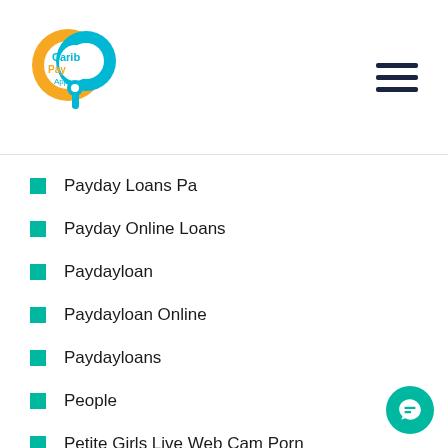Carib Pay App logo and navigation menu
Payday Loans Pa
Payday Online Loans
Paydayloan
Paydayloan Online
Paydayloans
People
Petite Girls Live Web Cam Porn
Phone
Planetromeodating.De Pop ?Ber Zu Dieser Web-Site
Plenty Of Fish Mobile